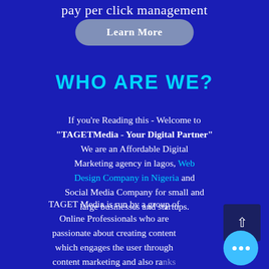pay per click management
Learn More
WHO ARE WE?
If you're Reading this - Welcome to "TAGETMedia - Your Digital Partner" We are an Affordable Digital Marketing agency in lagos, Web Design Company in Nigeria and Social Media Company for small and large businesses and startups.
TAGET Media is run by a group of Online Professionals who are passionate about creating content which engages the user through content marketing and also ranks websites high in Search Engine using a search engine